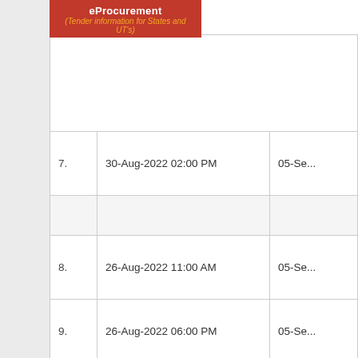[Figure (logo): eProcurement orange banner with text 'eProcurement (Tender information for States and UT's)']
| # | Date | Date2 |
| --- | --- | --- |
| 7. | 30-Aug-2022 02:00 PM | 05-Se... |
| 8. | 26-Aug-2022 11:00 AM | 05-Se... |
| 9. | 26-Aug-2022 06:00 PM | 05-Se... |
| 10. | 23-Aug-2022 06:00 PM | 05-Se... |
<< < 1 2 3 4 5 6 7 > >>
Contents owned and maintained by concerned Departments in coordin...
Designed, Developed and Hosted by National Informatics Centre | Version : 1... (c) 2017 Te... Site best vi...